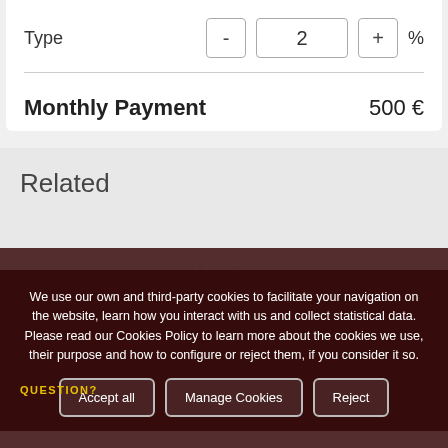Type   -  2  + %
Monthly Payment   500 €
Related
We use our own and third-party cookies to facilitate your navigation on the website, learn how you interact with us and collect statistical data. Please read our Cookies Policy to learn more about the cookies we use, their purpose and how to configure or reject them, if you consider it so.
Accept all   Manage Cookies   Reject